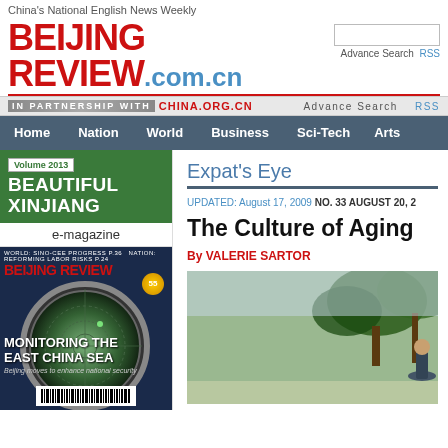China's National English News Weekly
BEIJING REVIEW.com.cn
IN PARTNERSHIP WITH CHINA.ORG.CN
Advance Search   RSS
Home  Nation  World  Business  Sci-Tech  Arts
Volume 2013
BEAUTIFUL XINJIANG
e-magazine
[Figure (photo): Beijing Review magazine cover featuring a radar/sonar image with text MONITORING THE EAST CHINA SEA and subtitle Beijing moves to enhance national security]
Expat's Eye
UPDATED: August 17, 2009 NO. 33 AUGUST 20, 2
The Culture of Aging
By VALERIE SARTOR
[Figure (photo): Outdoor photo showing trees and partial figure, article illustration]